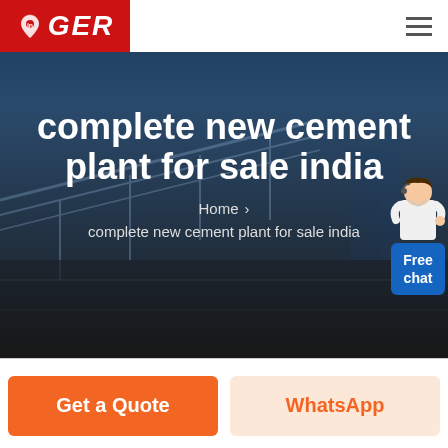GER
complete new cement plant for sale india
Home > complete new cement plant for sale india
[Figure (illustration): Free chat widget with customer service agent illustration and blue 'Free chat' button]
Get a Quote
WhatsApp